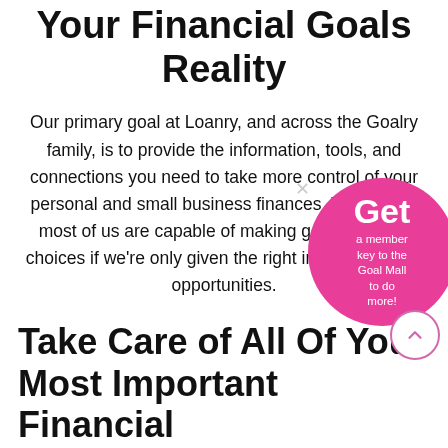Your Financial Goals Reality
Our primary goal at Loanry, and across the Goalry family, is to provide the information, tools, and connections you need to take more control of your personal and small business finances. We believe most of us are capable of making good financial choices if we're only given the right information and opportunities.
Take Care of All Of Your Most Important Financial